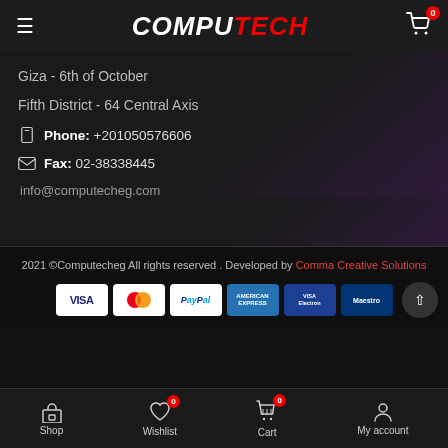COMPUTECH — hamburger menu, cart icon with badge 0
Giza - 6th of October
Fifth District - 64 Central Axis
Phone: +201050576606
Fax: 02-38338445
info@computecheg.com
2021 ©Computecheg All rights reserved . Developed by Comma Creative Solutions
[Figure (other): Payment method icons: VISA, MasterCard, PayPal, American Express, VISA Electron, Maestro]
Shop | Wishlist (0) | Cart (0) | My account — bottom navigation bar